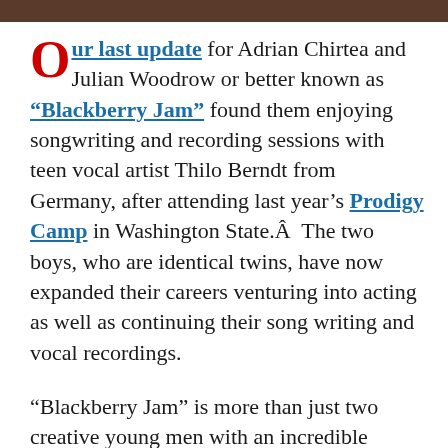[Figure (photo): Cropped image bar at top of page showing dark brown/warm toned photo]
Our last update for Adrian Chirtea and Julian Woodrow or better known as “Blackberry Jam” found them enjoying songwriting and recording sessions with teen vocal artist Thilo Berndt from Germany, after attending last year’s Prodigy Camp in Washington State.Â Â  The two boys, who are identical twins, have now expanded their careers venturing into acting as well as continuing their song writing and vocal recordings.

“Blackberry Jam” is more than just two creative young men with an incredible ability to entertain and make you laugh. These guys have